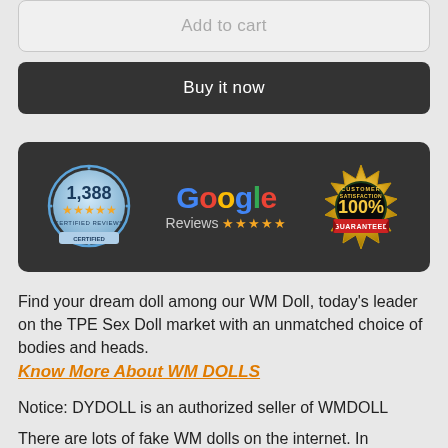[Figure (screenshot): Add to cart button — light gray rounded button with gray text 'Add to cart']
[Figure (screenshot): Buy it now button — dark charcoal rounded button with white text 'Buy it now']
[Figure (infographic): Dark banner showing 1,388 Certified Reviews badge (blue circular badge with stars), Google Reviews with 5 stars, and 100% Customer Satisfaction Guaranteed badge (gold seal with red ribbon)]
Find your dream doll among our WM Doll, today's leader on the TPE Sex Doll market with an unmatched choice of bodies and heads.
Know More About WM DOLLS
Notice: DYDOLL is an authorized seller of WMDOLL
There are lots of fake WM dolls on the internet. In